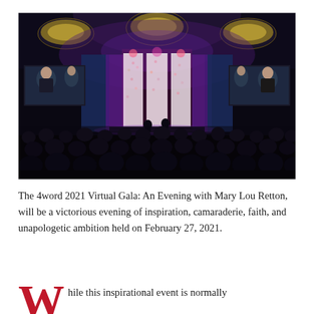[Figure (photo): A gala event in a large banquet hall with dark lighting, purple and pink stage lighting, large screens showing a woman speaker, audience silhouettes in the foreground, chandeliers overhead, and a floral backdrop on stage.]
The 4word 2021 Virtual Gala: An Evening with Mary Lou Retton, will be a victorious evening of inspiration, camaraderie, faith, and unapologetic ambition held on February 27, 2021.
While this inspirational event is normally